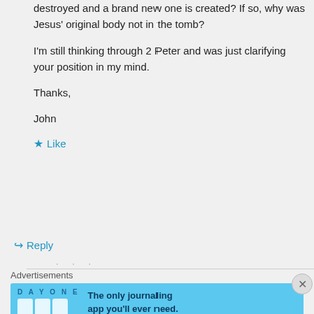destroyed and a brand new one is created? If so, why was Jesus' original body not in the tomb?
I'm still thinking through 2 Peter and was just clarifying your position in my mind.
Thanks,
John
★ Like
↪ Reply
Advertisements
[Figure (other): Day One journaling app advertisement banner with blue background, app icons, and text 'The only journaling app you'll ever need.']